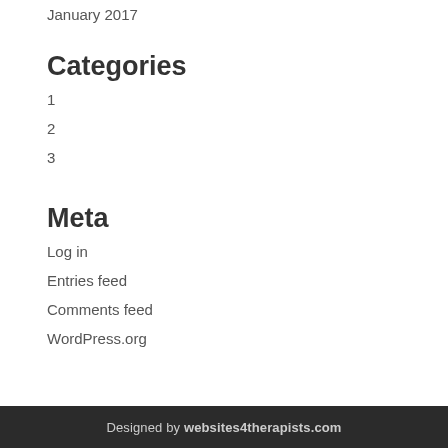January 2017
Categories
1
2
3
Meta
Log in
Entries feed
Comments feed
WordPress.org
Designed by websites4therapists.com